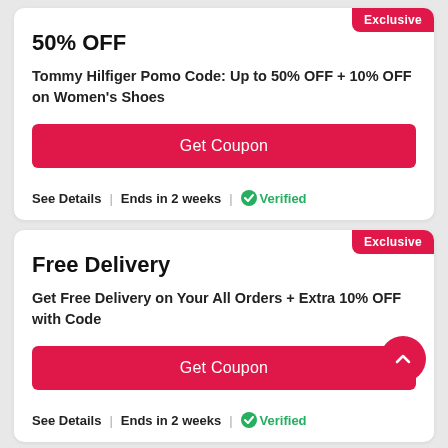50% OFF
Tommy Hilfiger Pomo Code: Up to 50% OFF + 10% OFF on Women's Shoes
Get Coupon
See Details | Ends in 2 weeks | ✅Verified
Free Delivery
Get Free Delivery on Your All Orders + Extra 10% OFF with Code
Get Coupon
See Details | Ends in 2 weeks | ✅Verified